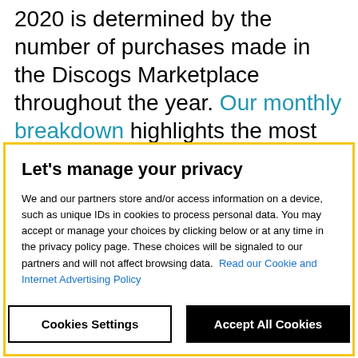2020 is determined by the number of purchases made in the Discogs Marketplace throughout the year. Our monthly breakdown highlights the most in-demand vinyl at the moment, such as Record Store Day releases or new drops.
Let's manage your privacy
We and our partners store and/or access information on a device, such as unique IDs in cookies to process personal data. You may accept or manage your choices by clicking below or at any time in the privacy policy page. These choices will be signaled to our partners and will not affect browsing data. Read our Cookie and Internet Advertising Policy
Cookies Settings | Accept All Cookies